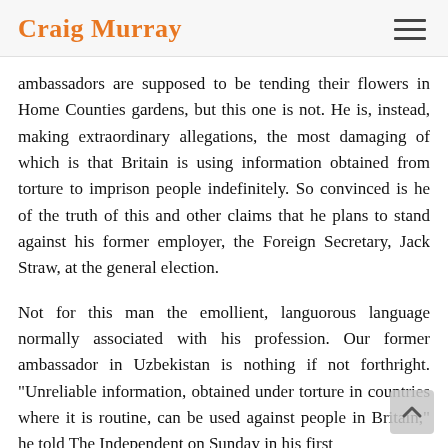Craig Murray
ambassadors are supposed to be tending their flowers in Home Counties gardens, but this one is not. He is, instead, making extraordinary allegations, the most damaging of which is that Britain is using information obtained from torture to imprison people indefinitely. So convinced is he of the truth of this and other claims that he plans to stand against his former employer, the Foreign Secretary, Jack Straw, at the general election.
Not for this man the emollient, languorous language normally associated with his profession. Our former ambassador in Uzbekistan is nothing if not forthright. "Unreliable information, obtained under torture in countries where it is routine, can be used against people in Britain," he told The Independent on Sunday in his first